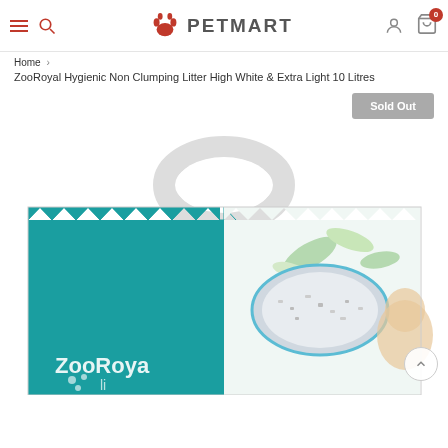PETMART
Home > ZooRoyal Hygienic Non Clumping Litter High White & Extra Light 10 Litres
ZooRoyal Hygienic Non Clumping Litter High White & Extra Light 10 Litres
Sold Out
[Figure (photo): ZooRoyal Hygienic Non Clumping Litter product bag, teal and white packaging with handle, showing cat litter granules and a cat image, partially cropped]